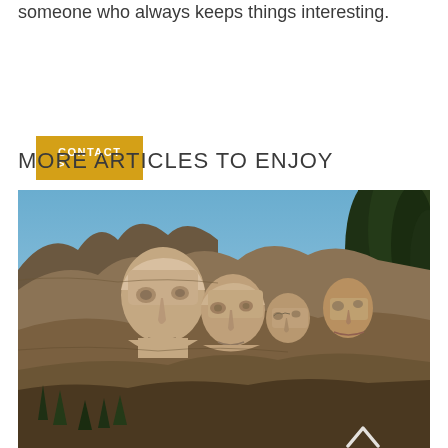someone who always keeps things interesting.
CONTACT >
MORE ARTICLES TO ENJOY
[Figure (photo): Mount Rushmore monument carved into granite mountain showing faces of presidents, with blue sky and pine trees in background. A white upward-pointing chevron arrow overlaid at bottom right.]